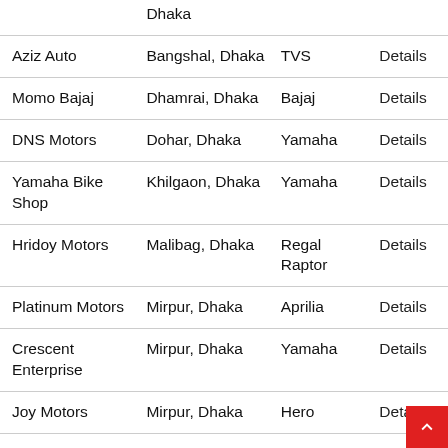| Name | Location | Brand | Action |
| --- | --- | --- | --- |
|  | Dhaka |  |  |
| Aziz Auto | Bangshal, Dhaka | TVS | Details |
| Momo Bajaj | Dhamrai, Dhaka | Bajaj | Details |
| DNS Motors | Dohar, Dhaka | Yamaha | Details |
| Yamaha Bike Shop | Khilgaon, Dhaka | Yamaha | Details |
| Hridoy Motors | Malibag, Dhaka | Regal Raptor | Details |
| Platinum Motors | Mirpur, Dhaka | Aprilia | Details |
| Crescent Enterprise | Mirpur, Dhaka | Yamaha | Details |
| Joy Motors | Mirpur, Dhaka | Hero | Details |
| Wings BD Ltd Mirpur 11.5 | Mirpur, Dhaka | Honda | Details |